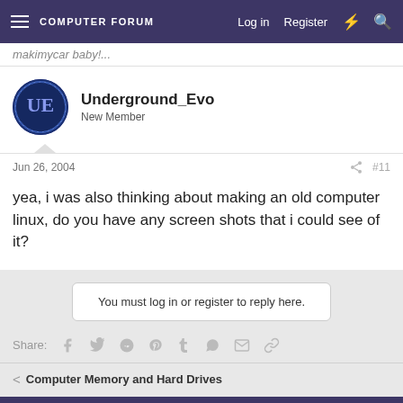COMPUTER FORUM  Log in  Register
makimycar baby!...
Underground_Evo
New Member
Jun 26, 2004  #11
yea, i was also thinking about making an old computer linux, do you have any screen shots that i could see of it?
You must log in or register to reply here.
Share:
< Computer Memory and Hard Drives
Contact us  Terms and rules  Privacy policy  Help  Home
Community platform by XenForo® © 2010-2021 XenForo Ltd.